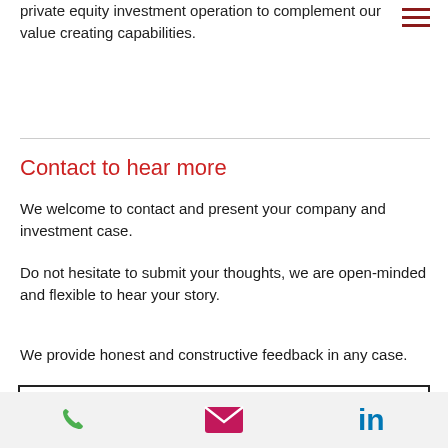private equity investment operation to complement our value creating capabilities.
Contact to hear more
We welcome to contact and present your company and investment case.
Do not hesitate to submit your thoughts, we are open-minded and flexible to hear your story.
We provide honest and constructive feedback in any case.
Name *
[Figure (infographic): Footer bar with three icons: green phone, magenta/pink email envelope, blue LinkedIn logo]